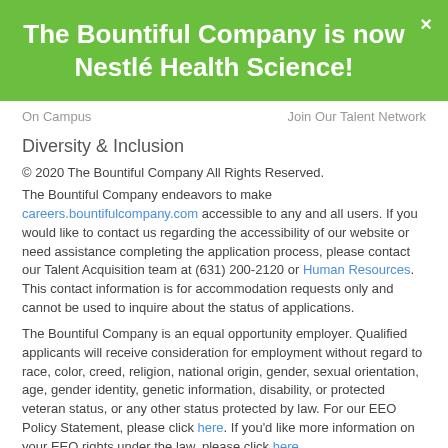The Bountiful Company is now Nestlé Health Science!
On Campus    Join Our Talent Network
Diversity & Inclusion
© 2020 The Bountiful Company All Rights Reserved.
The Bountiful Company endeavors to make careers.bountifulcompany.com accessible to any and all users. If you would like to contact us regarding the accessibility of our website or need assistance completing the application process, please contact our Talent Acquisition team at (631) 200-2120 or Human Resources. This contact information is for accommodation requests only and cannot be used to inquire about the status of applications.
The Bountiful Company is an equal opportunity employer. Qualified applicants will receive consideration for employment without regard to race, color, creed, religion, national origin, gender, sexual orientation, age, gender identity, genetic information, disability, or protected veteran status, or any other status protected by law. For our EEO Policy Statement, please click here. If you'd like more information on your EEO rights under the law, please click here.